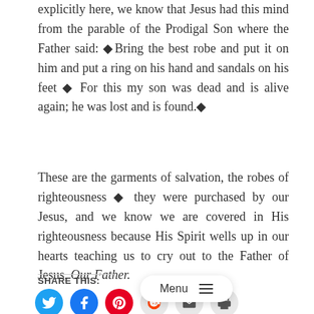explicitly here, we know that Jesus had this mind from the parable of the Prodigal Son where the Father said: ◆Bring out the best robe and put it on him and put a ring on his hand and sandals on his feet ◆ For this my son was dead and is alive again; he was lost and is found.◆
These are the garments of salvation, the robes of righteousness ◆ they were purchased by our Jesus, and we know we are covered in His righteousness because His Spirit wells up in our hearts teaching us to cry out to the Father of Jesus, Our Father.
SHARE THIS: